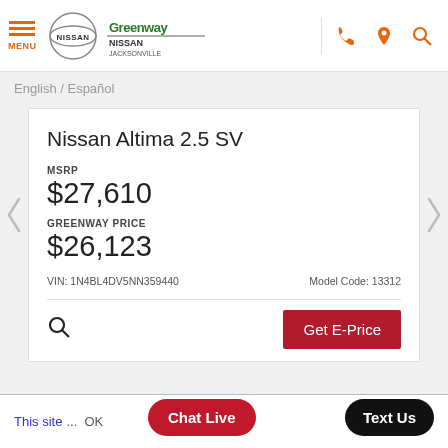MENU | Nissan | Greenway Nissan Jacksonville
English / Español
Nissan Altima 2.5 SV
MSRP
$27,610
GREENWAY PRICE
$26,123
Model Code: 13312
VIN: 1N4BL4DV5NN359440
Get E-Price
Chat Live   Text Us   This site ... OK